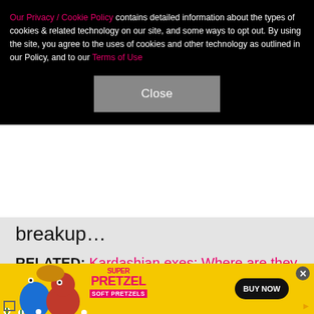Our Privacy / Cookie Policy contains detailed information about the types of cookies & related technology on our site, and some ways to opt out. By using the site, you agree to the uses of cookies and other technology as outlined in our Policy, and to our Terms of Use
Close
breakup…
RELATED: Kardashian exes: Where are they now?
[Figure (other): SuperPretzel Soft Pretzels advertisement banner with yellow background, cartoon mascot characters (blue and red), SuperPretzel logo, and BUY NOW button]